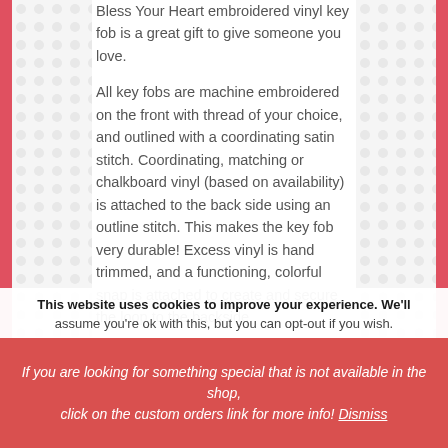Bless Your Heart embroidered vinyl key fob is a great gift to give someone you love.
All key fobs are machine embroidered on the front with thread of your choice, and outlined with a coordinating satin stitch. Coordinating, matching or chalkboard vinyl (based on availability) is attached to the back side using an outline stitch. This makes the key fob very durable! Excess vinyl is hand trimmed, and a functioning, colorful snap is attached to create and secure the loop to the backside.
Each key fob is carefully embroidered on high quality marine vinyl and is secured with a durable snap. Hang it on key chains, zippers
This website uses cookies to improve your experience. We'll assume you're ok with this, but you can opt-out if you wish.
If you are looking for something special that is not available in the shop, click on the custom orders link for more info! Dismiss